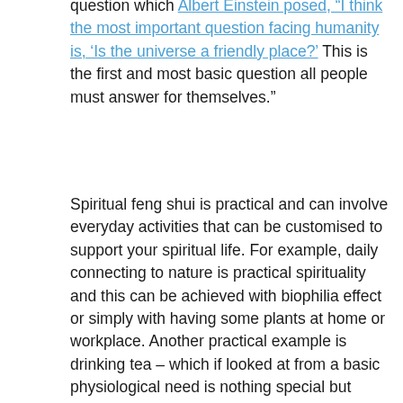question which Albert Einstein posed, “I think the most important question facing humanity is, ‘Is the universe a friendly place?’ This is the first and most basic question all people must answer for themselves.”
Spiritual feng shui is practical and can involve everyday activities that can be customised to support your spiritual life. For example, daily connecting to nature is practical spirituality and this can be achieved with biophilia effect or simply with having some plants at home or workplace. Another practical example is drinking tea – which if looked at from a basic physiological need is nothing special but drinking liquid to quench thirst. In Japan though, the tea ceremony is considered a spiritual practice and a highly elaborate sacred ritual. Visiting sacred places or power places is practical spirituality and creating sacred spaces at home or workplace can bring similar benefits. For example, in many cultures, people create simple altars in their homes and workplaces to